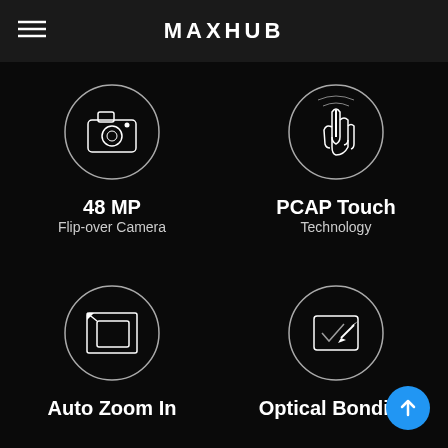MAXHUB
[Figure (infographic): Four feature icons in a 2x2 grid on dark background: camera icon (48 MP Flip-over Camera), touch hand icon (PCAP Touch Technology), resize frame icon (Auto Zoom In), tablet-with-pen icon (Optical Bonding). A blue circular scroll-to-top button is in the bottom right corner.]
48 MP
Flip-over Camera
PCAP Touch
Technology
Auto Zoom In
Optical Bonding